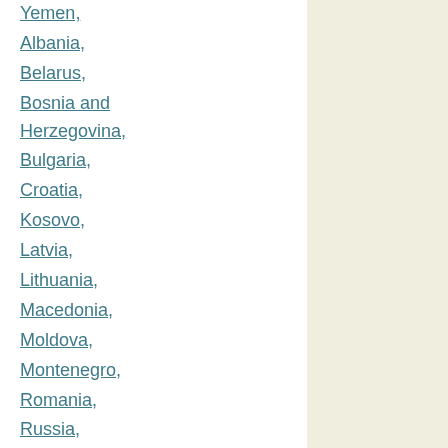Yemen,
Albania,
Belarus,
Bosnia and Herzegovina,
Bulgaria,
Croatia,
Kosovo,
Latvia,
Lithuania,
Macedonia,
Moldova,
Montenegro,
Romania,
Russia,
Serbia,
Ukraine,
Belize, Costa Rica, El Salvador,
Guatemala,
Honduras,